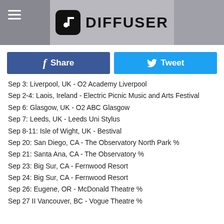DIFFUSER
Share | Tweet
Sep 3: Liverpool, UK - O2 Academy Liverpool
Sep 2-4: Laois, Ireland - Electric Picnic Music and Arts Festival
Sep 6: Glasgow, UK - O2 ABC Glasgow
Sep 7: Leeds, UK - Leeds Uni Stylus
Sep 8-11: Isle of Wight, UK - Bestival
Sep 20: San Diego, CA - The Observatory North Park %
Sep 21: Santa Ana, CA - The Observatory %
Sep 23: Big Sur, CA - Fernwood Resort
Sep 24: Big Sur, CA - Fernwood Resort
Sep 26: Eugene, OR - McDonald Theatre %
Sep 27 II Vancouver, BC - Vogue Theatre %